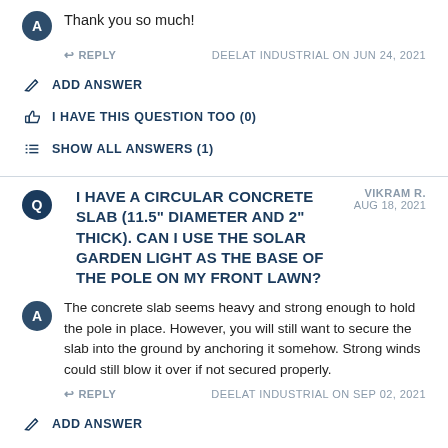Thank you so much!
REPLY   DEELAT INDUSTRIAL ON JUN 24, 2021
ADD ANSWER
I HAVE THIS QUESTION TOO (0)
SHOW ALL ANSWERS (1)
I HAVE A CIRCULAR CONCRETE SLAB (11.5" DIAMETER AND 2" THICK). CAN I USE THE SOLAR GARDEN LIGHT AS THE BASE OF THE POLE ON MY FRONT LAWN?
VIKRAM R. AUG 18, 2021
The concrete slab seems heavy and strong enough to hold the pole in place. However, you will still want to secure the slab into the ground by anchoring it somehow. Strong winds could still blow it over if not secured properly.
REPLY   DEELAT INDUSTRIAL ON SEP 02, 2021
ADD ANSWER